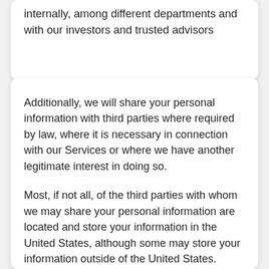internally, among different departments and with our investors and trusted advisors
Additionally, we will share your personal information with third parties where required by law, where it is necessary in connection with our Services or where we have another legitimate interest in doing so.
Most, if not all, of the third parties with whom we may share your personal information are located and store your information in the United States, although some may store your information outside of the United States.